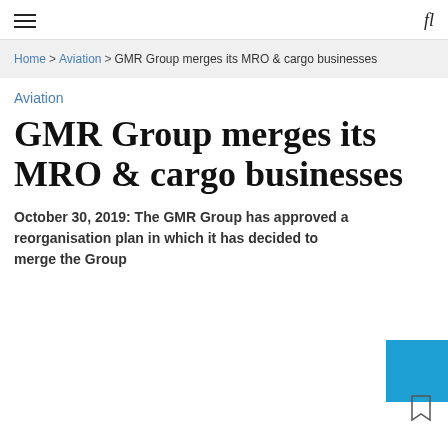≡  fl
Home > Aviation > GMR Group merges its MRO & cargo businesses
Aviation
GMR Group merges its MRO & cargo businesses
October 30, 2019: The GMR Group has approved a reorganisation plan in which it has decided to merge the Group